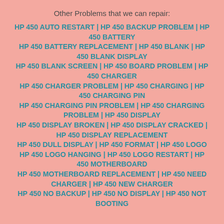Other Problems that we can repair:
HP 450 AUTO RESTART | HP 450 BACKUP PROBLEM | HP 450 BATTERY
HP 450 BATTERY REPLACEMENT | HP 450 BLANK | HP 450 BLANK DISPLAY
HP 450 BLANK SCREEN | HP 450 BOARD PROBLEM | HP 450 CHARGER
HP 450 CHARGER PROBLEM | HP 450 CHARGING | HP 450 CHARGING PIN
HP 450 CHARGING PIN PROBLEM | HP 450 CHARGING PROBLEM | HP 450 DISPLAY
HP 450 DISPLAY BROKEN | HP 450 DISPLAY CRACKED | HP 450 DISPLAY REPLACEMENT
HP 450 DULL DISPLAY | HP 450 FORMAT | HP 450 LOGO
HP 450 LOGO HANGING | HP 450 LOGO RESTART | HP 450 MOTHERBOARD
HP 450 MOTHERBOARD REPLACEMENT | HP 450 NEED CHARGER | HP 450 NEW CHARGER
HP 450 NO BACKUP | HP 450 NO DISPLAY | HP 450 NOT BOOTING